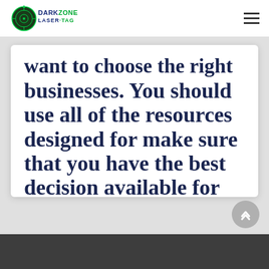DarkZone Laser Tag [logo] [hamburger menu]
want to choose the right businesses. You should use all of the resources designed for make sure that you have the best decision available for you.
If you are a business owner and you need money in a hurry, you should benefit from the many different repayment processing products and services that are available around the Internet. It is a good Read more...